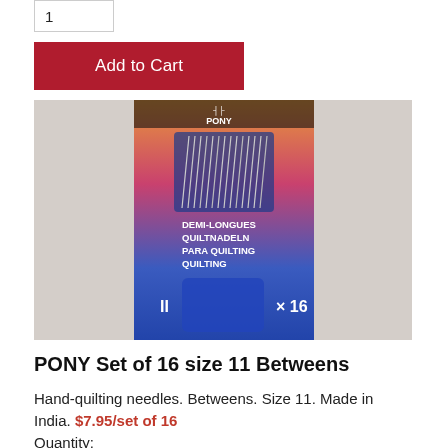1
Add to Cart
[Figure (photo): PONY brand quilting needles package — blue, orange and magenta gradient packaging showing needles behind a clear window, text reads DEMI-LONGUES QUILTNADELN PARA QUILTING QUILTING, 11 x 16]
PONY Set of 16 size 11 Betweens
Hand-quilting needles. Betweens. Size 11. Made in India. $7.95/set of 16
Quantity:
1